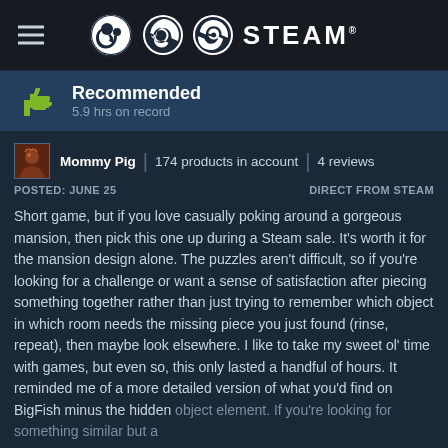STEAM
Recommended
5.9 hrs on record
Mommy Pig | 174 products in account | 4 reviews
POSTED: JUNE 25   DIRECT FROM STEAM
Short game, but if you love casually poking around a gorgeous mansion, then pick this one up during a Steam sale. It's worth it for the mansion design alone. The puzzles aren't difficult, so if you're looking for a challenge or want a sense of satisfaction after piecing something together rather than just trying to remember which object in which room needs the missing piece you just found (rinse, repeat), then maybe look elsewhere. I like to take my sweet ol' time with games, but even so, this only lasted a handful of hours. It reminded me of a more detailed version of what you'd find on BigFish minus the hidden object element. If you're looking for something similar but a
READ MORE